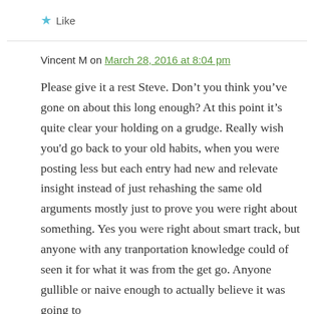★ Like
Vincent M on March 28, 2016 at 8:04 pm
Please give it a rest Steve. Don't you think you've gone on about this long enough? At this point it's quite clear your holding on a grudge. Really wish you'd go back to your old habits, when you were posting less but each entry had new and relevate insight instead of just rehashing the same old arguments mostly just to prove you were right about something. Yes you were right about smart track, but anyone with any tranportation knowledge could of seen it for what it was from the get go. Anyone gullible or naive enough to actually believe it was going to